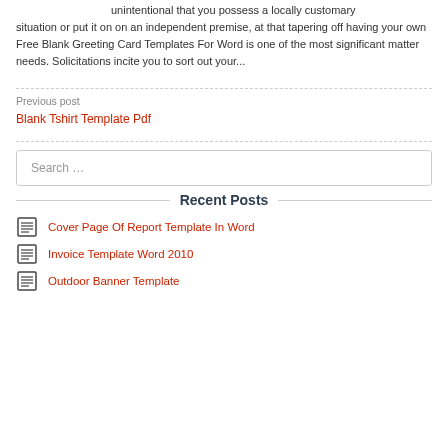unintentional that you possess a locally customary situation or put it on on an independent premise, at that tapering off having your own Free Blank Greeting Card Templates For Word is one of the most significant matter needs. Solicitations incite you to sort out your...
Previous post
Blank Tshirt Template Pdf
Search …
Recent Posts
Cover Page Of Report Template In Word
Invoice Template Word 2010
Outdoor Banner Template